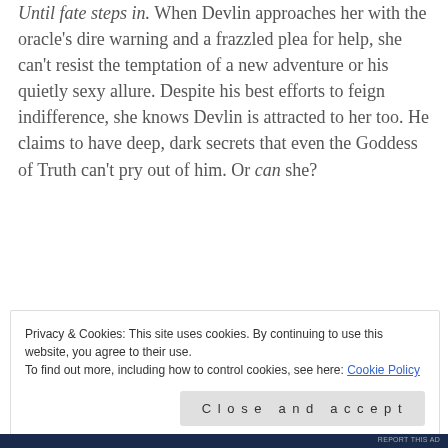Until fate steps in. When Devlin approaches her with the oracle's dire warning and a frazzled plea for help, she can't resist the temptation of a new adventure or his quietly sexy allure. Despite his best efforts to feign indifference, she knows Devlin is attracted to her too. He claims to have deep, dark secrets that even the Goddess of Truth can't pry out of him. Or can she?
[Figure (screenshot): Advertisement banner with dark navy background and text 'THAT MEANS BUSINESS.' with partial image of a person on the right side. Includes 'REPORT THIS AD' link.]
Privacy & Cookies: This site uses cookies. By continuing to use this website, you agree to their use.
To find out more, including how to control cookies, see here: Cookie Policy
Close and accept